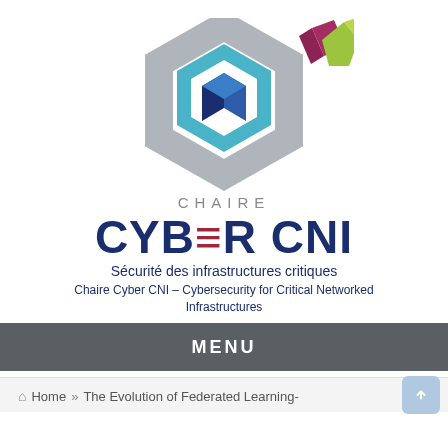[Figure (logo): Chaire Cyber CNI logo: a 3D hexagonal cube shape in gray, blue, teal, and white with two abstract angular shapes in mauve/purple and lime green to the right]
CHAIRE
CYBER CNI
Sécurité des infrastructures critiques
Chaire Cyber CNI – Cybersecurity for Critical Networked Infrastructures
MENU
🏠 Home » The Evolution of Federated Learning-